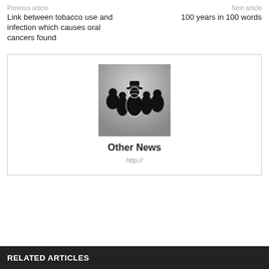Previous article
Next article
Link between tobacco use and infection which causes oral cancers found
100 years in 100 words
[Figure (photo): Silhouette of a group of people with glowing white edges against a grey background, one figure wearing a hat in the center]
Other News
http://
RELATED ARTICLES